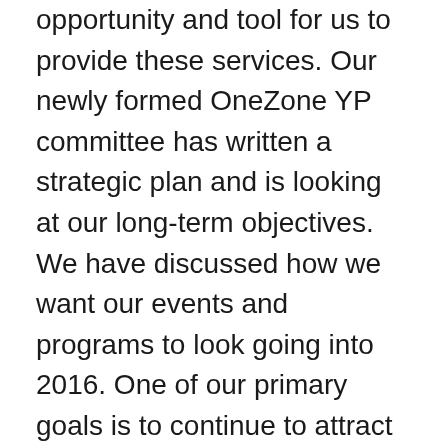opportunity and tool for us to provide these services. Our newly formed OneZone YP committee has written a strategic plan and is looking at our long-term objectives. We have discussed how we want our events and programs to look going into 2016. One of our primary goals is to continue to attract members, so that they really feel that they are getting value out of their membership.
“We want corporations and entities from Carmel, Fishers, Indianapolis and the surrounding areas to look to us and use us as a selling point when they are vetting young professionals as potential employees and as an organization that their YP employees can engage and connect with. If their employees feel engaged, then